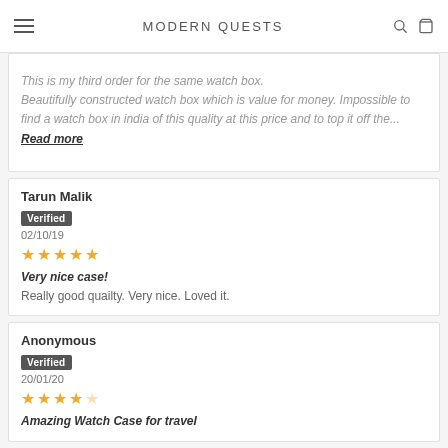MODERN QUESTS
This is my third order for the same watch box. Beautifully constructed watch box which is value for money. Impossible to find a watch box in india of this quality at this price and to top it off the... Read more
Tarun Malik
Verified
02/10/19
★★★★★
Very nice case!
Really good quailty. Very nice. Loved it.
Anonymous
Verified
20/01/20
★★★★☆
Amazing Watch Case for travel